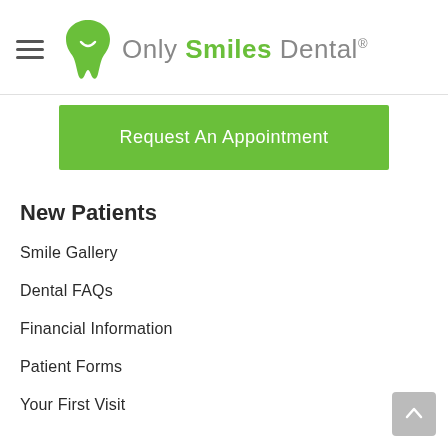[Figure (logo): Only Smiles Dental logo with green tooth icon and text]
Request An Appointment
New Patients
Smile Gallery
Dental FAQs
Financial Information
Patient Forms
Your First Visit